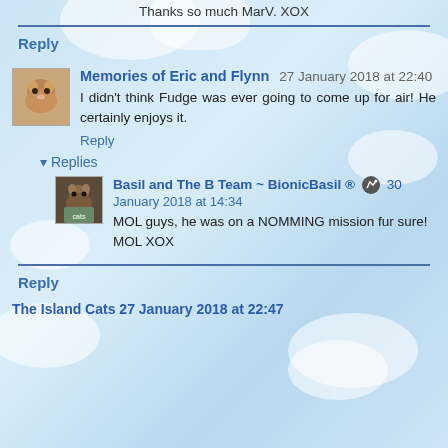Thanks so much MarV. XOX
Reply
Memories of Eric and Flynn 27 January 2018 at 22:40
I didn't think Fudge was ever going to come up for air! He certainly enjoys it.
Reply
Replies
Basil and The B Team ~ BionicBasil ® 30 January 2018 at 14:34
MOL guys, he was on a NOMMING mission fur sure! MOL XOX
Reply